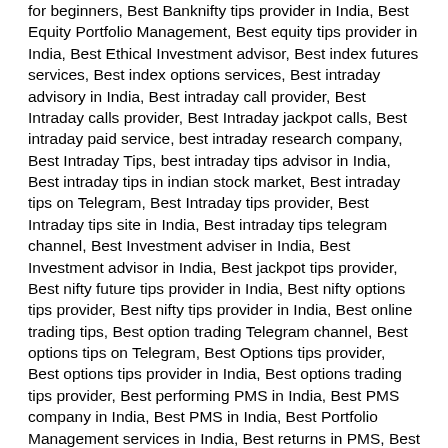for beginners, Best Banknifty tips provider in India, Best Equity Portfolio Management, Best equity tips provider in India, Best Ethical Investment advisor, Best index futures services, Best index options services, Best intraday advisory in India, Best intraday call provider, Best Intraday calls provider, Best Intraday jackpot calls, Best intraday paid service, best intraday research company, Best Intraday Tips, best intraday tips advisor in India, Best intraday tips in indian stock market, Best intraday tips on Telegram, Best Intraday tips provider, Best Intraday tips site in India, Best intraday tips telegram channel, Best Investment adviser in India, Best Investment advisor in India, Best jackpot tips provider, Best nifty future tips provider in India, Best nifty options tips provider, Best nifty tips provider in India, Best online trading tips, Best option trading Telegram channel, Best options tips on Telegram, Best Options tips provider, Best options tips provider in India, Best options trading tips provider, Best performing PMS in India, Best PMS company in India, Best PMS in India, Best Portfolio Management services in India, Best returns in PMS, Best SEBI registered advisory company,